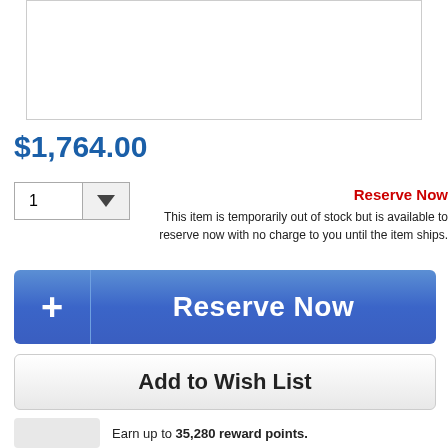[Figure (photo): Product image placeholder (white box with border)]
$1,764.00
1
Reserve Now
This item is temporarily out of stock but is available to reserve now with no charge to you until the item ships.
+ Reserve Now
Add to Wish List
Earn up to 35,280 reward points.